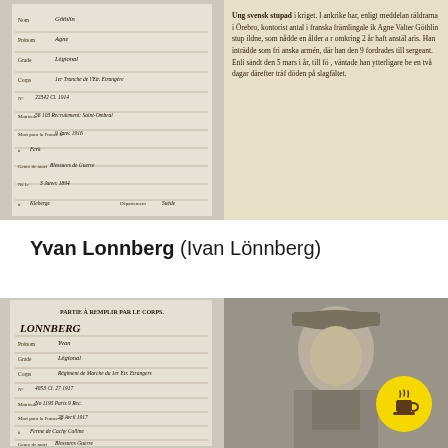[Figure (photo): Handwritten French military record document with cursive text, lines and form fields]
[Figure (photo): Swedish newspaper clipping with text beginning 'Ung svensk stupad i kriget' about Agne Valter Göthlin who died in battle in the French Foreign Legion]
Yvan Lonnberg (Ivan Lönnberg)
[Figure (photo): Handwritten French military record document for LONNBERG with cursive text showing Partie à remplir par le corps form]
[Figure (photo): Black and white portrait photo of a soldier wearing a military cap, with yellow coffee cup badge overlay]